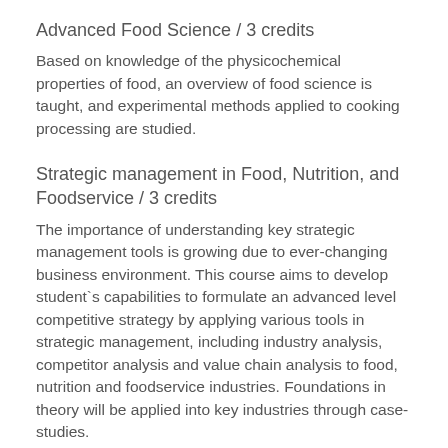Advanced Food Science / 3 credits
Based on knowledge of the physicochemical properties of food, an overview of food science is taught, and experimental methods applied to cooking processing are studied.
Strategic management in Food, Nutrition, and Foodservice / 3 credits
The importance of understanding key strategic management tools is growing due to ever-changing business environment. This course aims to develop student`s capabilities to formulate an advanced level competitive strategy by applying various tools in strategic management, including industry analysis, competitor analysis and value chain analysis to food, nutrition and foodservice industries. Foundations in theory will be applied into key industries through case-studies.
Policies in Food & Nutrition / 3 credits
Food and nutrition fields are changing very fast. Researchers and industry managers encounter the situation to make a critical decision in achieving their